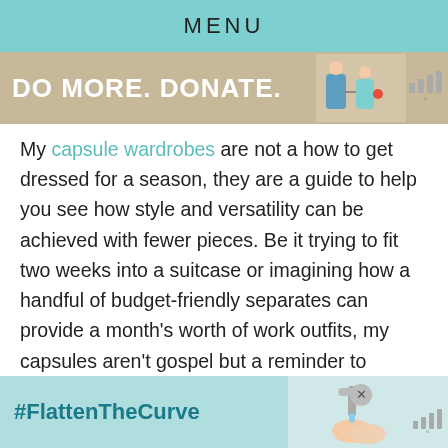MENU
[Figure (photo): Advertisement banner: 'DO MORE. DONATE.' with illustrated figures of people]
My capsule wardrobes are not a how to get dressed for a season, they are a guide to help you see how style and versatility can be achieved with fewer pieces. Be it trying to fit two weeks into a suitcase or imagining how a handful of budget-friendly separates can provide a month's worth of work outfits, my capsules aren't gospel but a reminder to choose quality over quantity.
A capsule wardrobe won't fix your closet, and it
[Figure (photo): Bottom advertisement banner with '#FlattenTheCurve' hashtag and image of hands washing at a faucet]